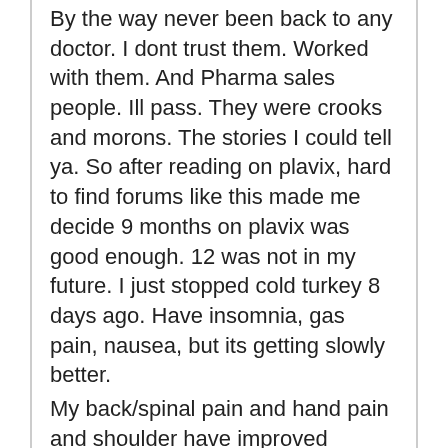By the way never been back to any doctor. I dont trust them. Worked with them. And Pharma sales people. Ill pass. They were crooks and morons. The stories I could tell ya. So after reading on plavix, hard to find forums like this made me decide 9 months on plavix was good enough. 12 was not in my future. I just stopped cold turkey 8 days ago. Have insomnia, gas pain, nausea, but its getting slowly better.
My back/spinal pain and hand pain and shoulder have improved significantly. I stayed on aspirin, but I take 5 baby 82 mg a day. Some for pain obviously and some to thin my blood. Not taking any chances on clotting and people used to take several a day so not gonna worry about that. But goodbye Plavix.... You wont be missed!
My suggestion is for everybody to not be scared and just get off asap. Im gonna start